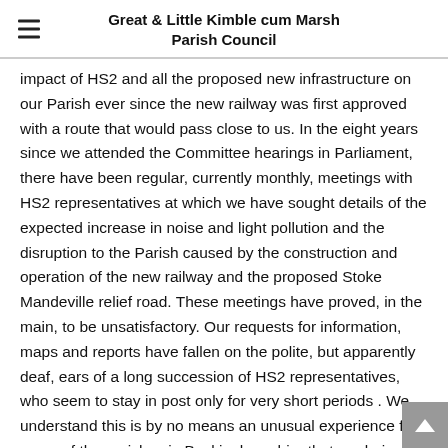Great & Little Kimble cum Marsh Parish Council
impact of HS2 and all the proposed new infrastructure on our Parish ever since the new railway was first approved with a route that would pass close to us. In the eight years since we attended the Committee hearings in Parliament, there have been regular, currently monthly, meetings with HS2 representatives at which we have sought details of the expected increase in noise and light pollution and the disruption to the Parish caused by the construction and operation of the new railway and the proposed Stoke Mandeville relief road. These meetings have proved, in the main, to be unsatisfactory. Our requests for information, maps and reports have fallen on the polite, but apparently deaf, ears of a long succession of HS2 representatives, who seem to stay in post only for very short periods . We understand this is by no means an unusual experience for many of the parishes in Buckinghamshire that are being affected by HS2.